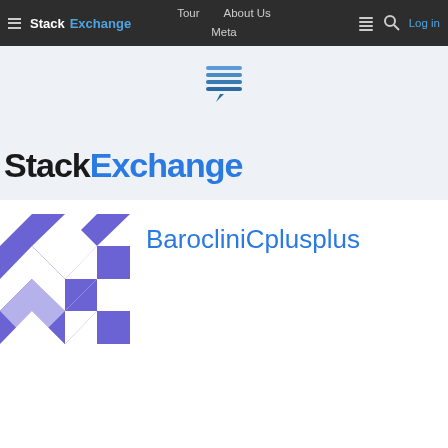Stack Exchange | Tour | About Us | Meta | Log in
[Figure (logo): StackExchange logo with stacked lines icon and word mark in large font on light blue/grey banner background]
[Figure (photo): BarocliniCplusplus user avatar — geometric purple and white diamond/checkerboard pattern in a square]
BarocliniCplusplus